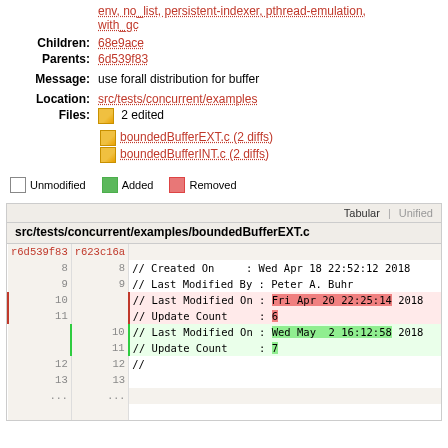env, no_list, persistent-indexer, pthread-emulation, with_gc
Children: 68e9ace
Parents: 6d539f83
Message: use forall distribution for buffer
Location: src/tests/concurrent/examples
Files: 2 edited
boundedBufferEXT.c (2 diffs)
boundedBufferINT.c (2 diffs)
Unmodified   Added   Removed
[Figure (screenshot): Code diff view showing src/tests/concurrent/examples/boundedBufferEXT.c with tabular diff. Lines 8-9 unmodified, lines 10-11 removed (red, showing Fri Apr 20 22:25:14 2018 and count 6), lines 10-11 added (green, showing Wed May 2 16:12:58 2018 and count 7), lines 12-13 unmodified showing //, ellipsis rows.]